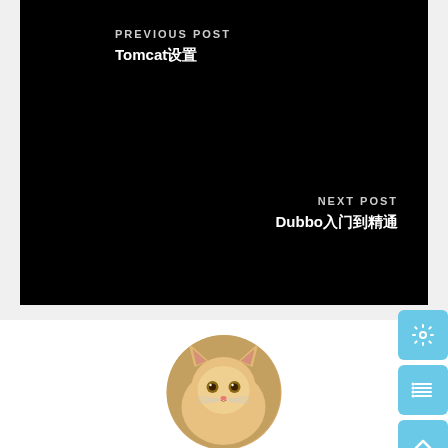PREVIOUS POST
Tomcat设置
NEXT POST
Dubbo入门到精通
[Figure (photo): Circular portrait photo of an orange/cream colored cat looking upward against a blurred warm background]
[Figure (other): Three light blue floating action buttons on the right side: a gear/settings icon, a list icon, and an upward arrow icon]